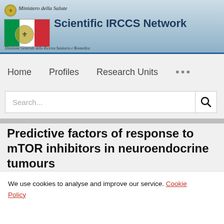[Figure (logo): Scientific IRCCS Network header banner with Italian Ministry of Health logo (eagle emblem and Italian flag), text 'Ministero della Salute', and 'Scientific IRCCS Network' title]
Direzione Generale della Ricerca Sanitaria e Biomedica
Home   Profiles   Research Units   ...
Search...
Predictive factors of response to mTOR inhibitors in neuroendocrine tumours
We use cookies to analyse and improve our service. Cookie Policy